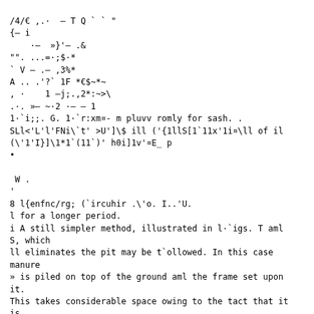/4/€ ,.·  — T Q ` ` "
{– i
    ·–  »}'– .&
"". ...=·;$·*
` V – .– ,3%*
A .. .'?` 1F *€$~*~
, ·    1 –j;.,2*:~>\.
.·. »– ~·2 ·– – 1
1·`i;;. G. 1·`r:xm¤- m pluvv romly for sash. .
SLl<'L'l'FNi\`t' >U']\$ ill ('{1llS[1`11x'1i¤\ll of il
(\'1'I}]\1*1`(11`)' h0i]1v'¤E_ p
•

 W .
'
8 l{enfnc/rg; (`ircuhir .\'o. I..'U.
l for a longer period.
i A still simpler method, illustrated in l·`igs. T aml
S, which
ll eliminates the pit may be t`ollowed. In this case manure
» is piled on top of the ground aml the frame set upon it.
This takes considerable space owing to the tact that it is
high above the ground and necessitates much banking.
g This plan also requires more manure than either ol` the
A V others and it is the least etlicient. '1`he manure soon gives